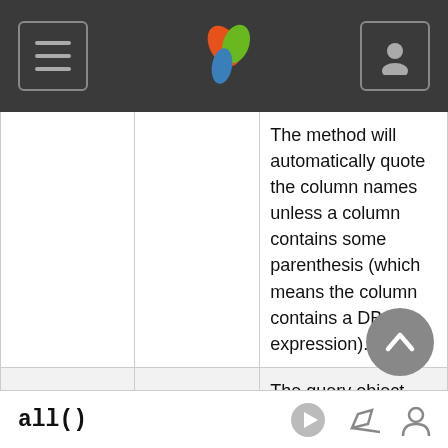[Figure (screenshot): Navigation bar with hamburger menu icon on left, a colorful leaf/sprout logo in center, and user avatar icon on right, on dark gray background]
|  |  | The method will automatically quote the column names unless a column contains some parenthesis (which means the column contains a DB expression). |
| return | $this | The query object itself |
all()